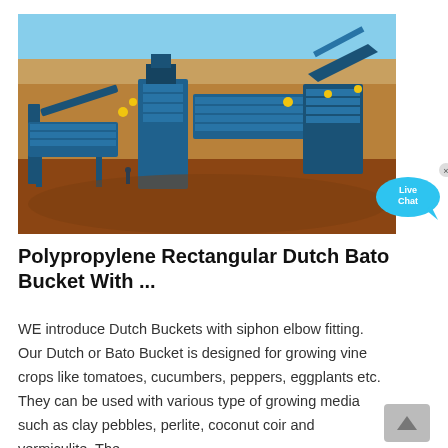[Figure (photo): Aerial view of large blue industrial mining equipment/screening plant in an open-pit mine with red/brown earth and clear blue sky. A Live Chat bubble overlay appears in the upper right of the image.]
Polypropylene Rectangular Dutch Bato Bucket With ...
WE introduce Dutch Buckets with siphon elbow fitting. Our Dutch or Bato Bucket is designed for growing vine crops like tomatoes, cucumbers, peppers, eggplants etc. They can be used with various type of growing media such as clay pebbles, perlite, coconut coir and vermiculite. The...